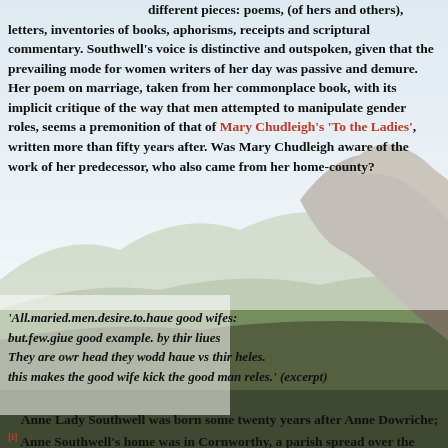[Figure (photo): Landscape photograph of rocky hills and mountains under a pale blue sky, serving as background for the page text.]
different pieces: poems, (of hers and others), letters, inventories of books, aphorisms, receipts and scriptural commentary. Southwell's voice is distinctive and outspoken, given that the prevailing mode for women writers of her day was passive and demure. Her poem on marriage, taken from her commonplace book, with its implicit critique of the way that men attempted to manipulate gender roles, seems a premonition of that of Mary Chudleigh's 'To the Ladies', written more than fifty years after. Was Mary Chudleigh aware of the work of her predecessor, who also came from her home-county?
'All.maried.men.desire.to.haue good wifes: but.few.giue good example. by thir liues They are owr head they wodd haue vs thir heles. this makes the good wife kick the good man reles.' (excerpt)
Anne Lady Southwell was born some twenty years after Anne Dowriche;[i] Anne Southwell's home was in Cornworthy, a parish spread over the lengths of two opposite valleys, which